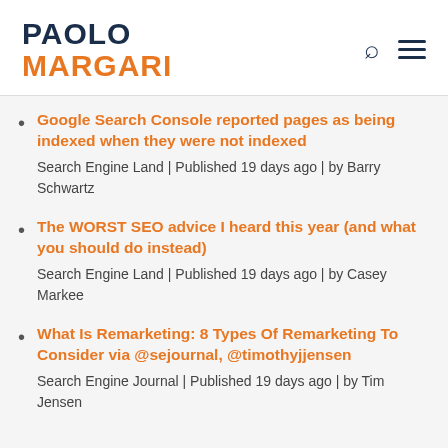PAOLO MARGARI
Google Search Console reported pages as being indexed when they were not indexed
Search Engine Land | Published 19 days ago | by Barry Schwartz
The WORST SEO advice I heard this year (and what you should do instead)
Search Engine Land | Published 19 days ago | by Casey Markee
What Is Remarketing: 8 Types Of Remarketing To Consider via @sejournal, @timothyjjensen
Search Engine Journal | Published 19 days ago | by Tim Jensen